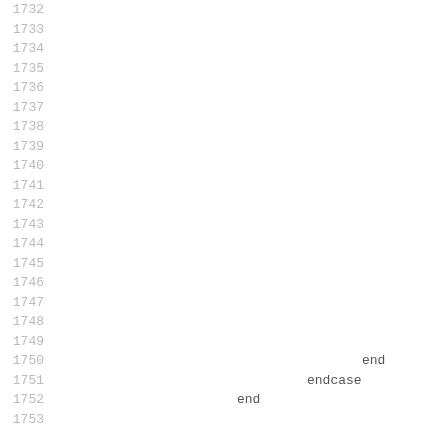1732
1733
1734
1735
1736
1737
1738
1739
1740
1741
1742
1743
1744
1745
1746
1747
1748
1749
1750  end
1751  endcase
1752  end
1753